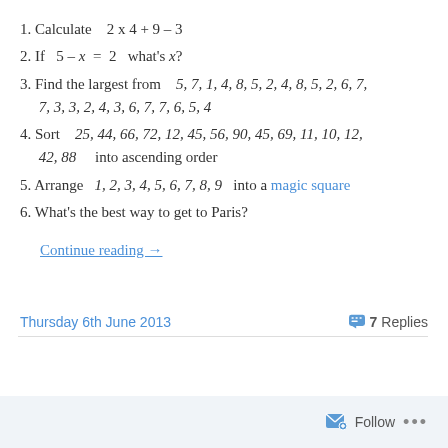1. Calculate   2 x 4 + 9 – 3
2. If   5 – x  =  2   what's x?
3. Find the largest from   5, 7, 1, 4, 8, 5, 2, 4, 8, 5, 2, 6, 7, 7, 3, 3, 2, 4, 3, 6, 7, 7, 6, 5, 4
4. Sort   25, 44, 66, 72, 12, 45, 56, 90, 45, 69, 11, 10, 12, 42, 88   into ascending order
5. Arrange   1, 2, 3, 4, 5, 6, 7, 8, 9   into a magic square
6. What's the best way to get to Paris?
Continue reading →
Thursday 6th June 2013    7 Replies